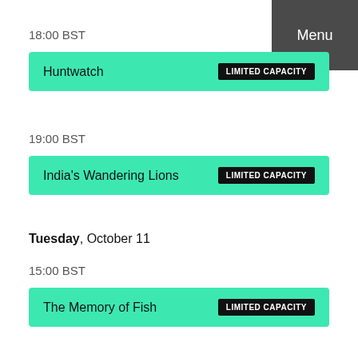Menu
18:00 BST
Huntwatch  LIMITED CAPACITY
19:00 BST
India's Wandering Lions  LIMITED CAPACITY
Tuesday, October 11
15:00 BST
The Memory of Fish  LIMITED CAPACITY